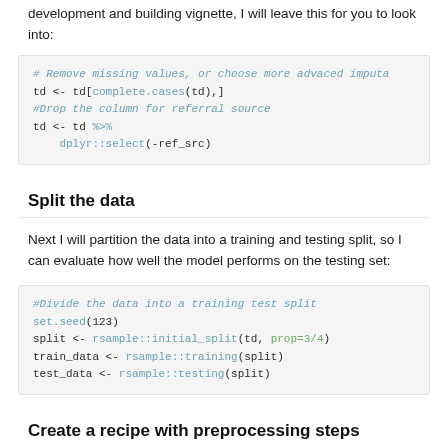development and building vignette, I will leave this for you to look into:
# Remove missing values, or choose more advaced imputa
td <- td[complete.cases(td),]
#Drop the column for referral source
td <- td %>%
    dplyr::select(-ref_src)
Split the data
Next I will partition the data into a training and testing split, so I can evaluate how well the model performs on the testing set:
#Divide the data into a training test split
set.seed(123)
split <- rsample::initial_split(td, prop=3/4)
train_data <- rsample::training(split)
test_data <- rsample::testing(split)
Create a recipe with preprocessing steps